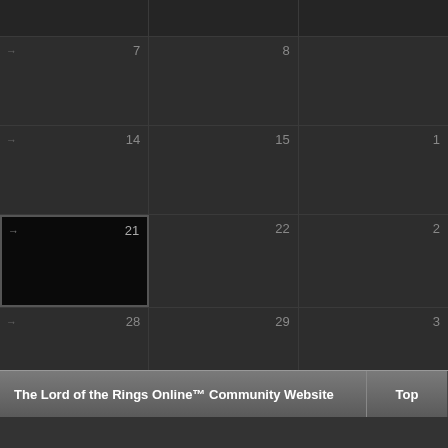[Figure (screenshot): Dark-themed calendar grid showing partial month view. Visible dates: 7, 8 (row 1); 14, 15, 1 (row 2); 21 (highlighted/today), 22, 2 (row 3); 28, 29, 3 (row 4). Week navigation arrows shown on left cells.]
The Lord of the Rings Online™ Community Website    Top